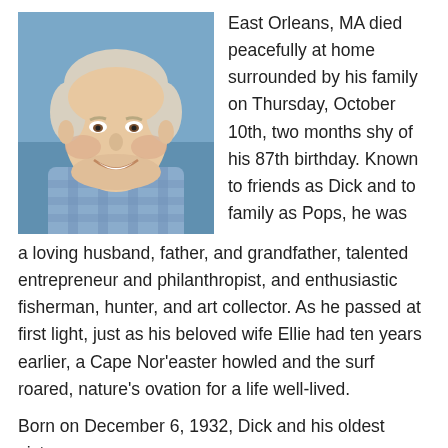[Figure (photo): Portrait photo of an elderly smiling man with white/grey hair, wearing a blue plaid shirt, outdoors near water.]
East Orleans, MA died peacefully at home surrounded by his family on Thursday, October 10th, two months shy of his 87th birthday. Known to friends as Dick and to family as Pops, he was a loving husband, father, and grandfather, talented entrepreneur and philanthropist, and enthusiastic fisherman, hunter, and art collector. As he passed at first light, just as his beloved wife Ellie had ten years earlier, a Cape Nor'easter howled and the surf roared, nature's ovation for a life well-lived.
Born on December 6, 1932, Dick and his oldest sister...